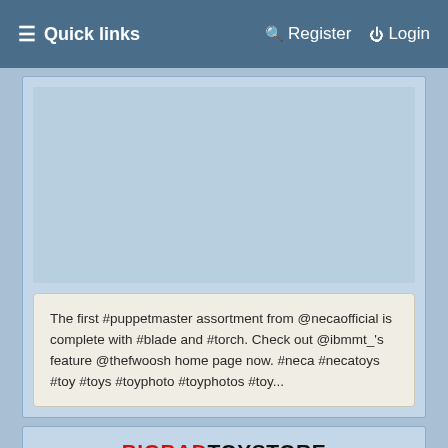≡ Quick links    Register    Login
[Figure (screenshot): Light blue placeholder image area inside a card]
The first #puppetmaster assortment from @necaofficial is complete with #blade and #torch. Check out @ibmmt_'s feature @thefwoosh home page now. #neca #necatoys #toy #toys #toyphoto #toyphotos #toy...
[Figure (logo): BIG BAD TOY STORE logo in red and black letters with Twitter X icon]